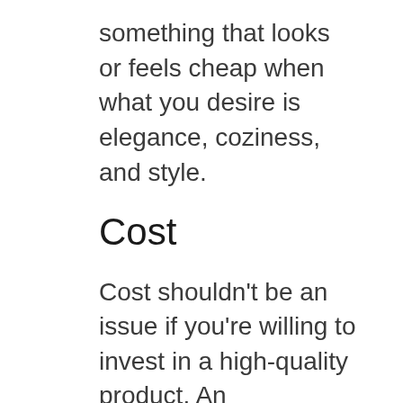something that looks or feels cheap when what you desire is elegance, coziness, and style.
Cost
Cost shouldn’t be an issue if you’re willing to invest in a high-quality product. An inexpensive product often has great features, so you get great value for your money.
However, expensive products don’t necessarily mean to be of exceptional quality. We prefer to